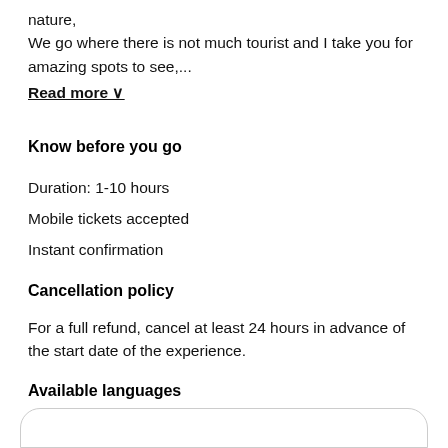nature,
We go where there is not much tourist and I take you for amazing spots to see,...
Read more ∨
Know before you go
Duration: 1-10 hours
Mobile tickets accepted
Instant confirmation
Cancellation policy
For a full refund, cancel at least 24 hours in advance of the start date of the experience.
Available languages
English
What to expect